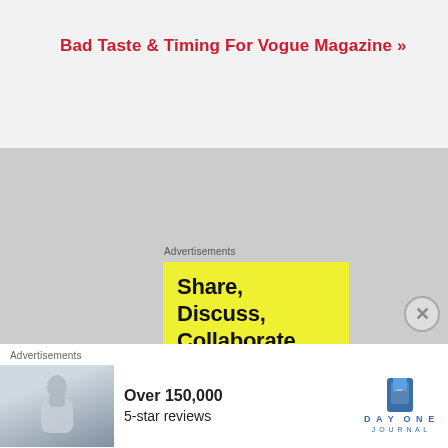Bad Taste & Timing For Vogue Magazine »
[Figure (other): Gray placeholder area representing a website content section with advertisement overlays]
Advertisements
[Figure (other): Yellow advertisement box with text: Share, Discuss, Collaborate, P2.]
Advertisements
[Figure (other): Bottom advertisement banner with person photo, text 'Over 150,000 5-star reviews' and Day One Journal logo]